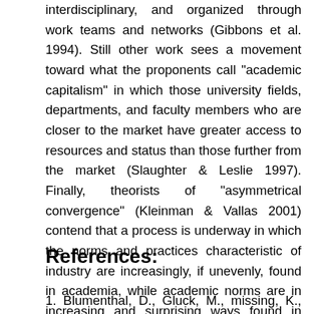interdisciplinary, and organized through work teams and networks (Gibbons et al. 1994). Still other work sees a movement toward what the proponents call "academic capitalism" in which those university fields, departments, and faculty members who are closer to the market have greater access to resources and status than those further from the market (Slaughter & Leslie 1997). Finally, theorists of "asymmetrical convergence" (Kleinman & Vallas 2001) contend that a process is underway in which the norms and practices characteristic of industry are increasingly, if unevenly, found in academia, while academic norms are in increasing and surprising ways found in science based industry.
References:
1. Blumenthal, D., Gluck, M., missing, K., Stoto, A., &